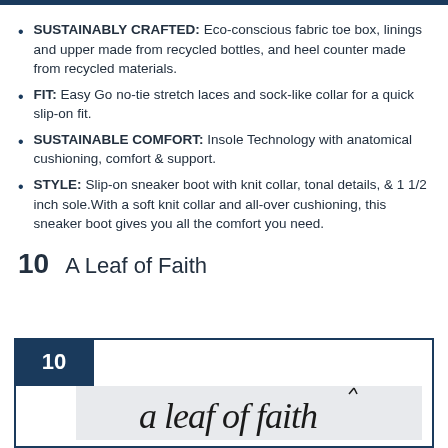SUSTAINABLY CRAFTED: Eco-conscious fabric toe box, linings and upper made from recycled bottles, and heel counter made from recycled materials.
FIT: Easy Go no-tie stretch laces and sock-like collar for a quick slip-on fit.
SUSTAINABLE COMFORT: Insole Technology with anatomical cushioning, comfort & support.
STYLE: Slip-on sneaker boot with knit collar, tonal details, & 1 1/2 inch sole.With a soft knit collar and all-over cushioning, this sneaker boot gives you all the comfort you need.
10   A Leaf of Faith
[Figure (logo): A card with the number 10 in a dark navy box, and a logo area showing 'a leaf of faith' text in stylized black lettering on a light grey background.]